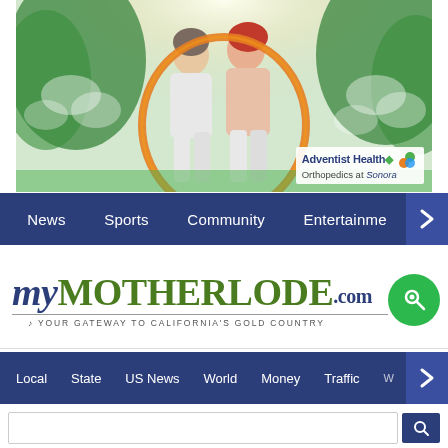[Figure (photo): Two elderly women smiling and holding a large orange hula hoop outdoors in a bright garden setting. Adventist Health Orthopedics at Sonora branding in bottom right corner.]
News  Sports  Community  Entertainment  >
myMOTHERLODE.com — YOUR GATEWAY TO CALIFORNIA'S GOLD COUNTRY
Local  State  US News  World  Money  Traffic  W  >